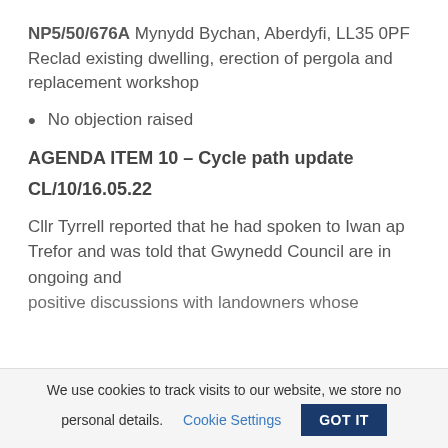NP5/50/676A Mynydd Bychan, Aberdyfi, LL35 0PF Reclad existing dwelling, erection of pergola and replacement workshop
No objection raised
AGENDA ITEM 10 – Cycle path update
CL/10/16.05.22
Cllr Tyrrell reported that he had spoken to Iwan ap Trefor and was told that Gwynedd Council are in ongoing and positive discussions with landowners whose
We use cookies to track visits to our website, we store no personal details. Cookie Settings GOT IT